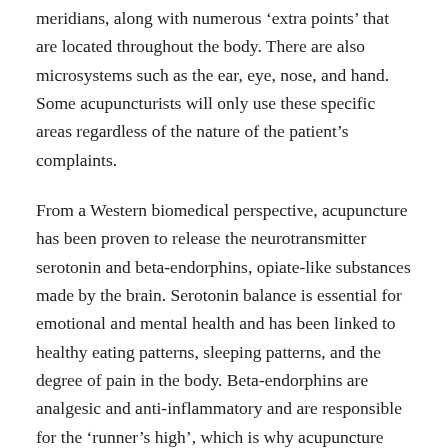meridians, along with numerous 'extra points' that are located throughout the body. There are also microsystems such as the ear, eye, nose, and hand. Some acupuncturists will only use these specific areas regardless of the nature of the patient's complaints.
From a Western biomedical perspective, acupuncture has been proven to release the neurotransmitter serotonin and beta-endorphins, opiate-like substances made by the brain. Serotonin balance is essential for emotional and mental health and has been linked to healthy eating patterns, sleeping patterns, and the degree of pain in the body. Beta-endorphins are analgesic and anti-inflammatory and are responsible for the 'runner's high', which is why acupuncture can induce similar sensations.